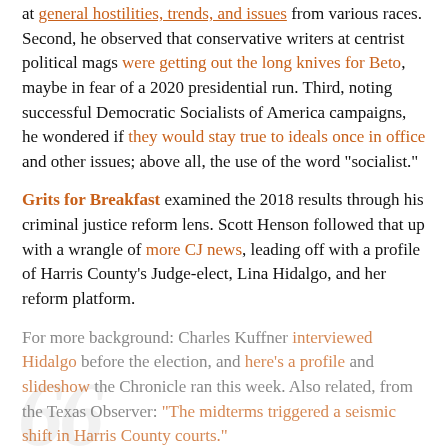at general hostilities, trends, and issues from various races. Second, he observed that conservative writers at centrist political mags were getting out the long knives for Beto, maybe in fear of a 2020 presidential run. Third, noting successful Democratic Socialists of America campaigns, he wondered if they would stay true to ideals once in office and other issues; above all, the use of the word "socialist."
Grits for Breakfast examined the 2018 results through his criminal justice reform lens. Scott Henson followed that up with a wrangle of more CJ news, leading off with a profile of Harris County's Judge-elect, Lina Hidalgo, and her reform platform.
For more background: Charles Kuffner interviewed Hidalgo before the election, and here's a profile and slideshow the Chronicle ran this week. Also related, from the Texas Observer: "The midterms triggered a seismic shift in Harris County courts."
Law and Crime talked to State District Judge-elect Franklin Bynum, one of three DSA members elected in Harris County.
Harris County's new Clerk, Diane Trautman, has plans to replace the